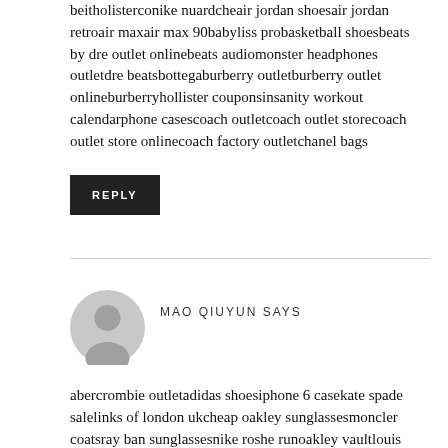beitholisterconike nuardcheair jordan shoesair jordan retroair maxair max 90babyliss probasketball shoesbeats by dre outlet onlinebeats audiomonster headphones outletdre beatsbottegaburberry outletburberry outlet onlineburberryhollister couponsinsanity workout calendarphone casescoach outletcoach outlet storecoach outlet store onlinecoach factory outletchanel bags
REPLY
MAO QIUYUN SAYS
abercrombie outletadidas shoesiphone 6 casekate spade salelinks of london ukcheap oakley sunglassesmoncler coatsray ban sunglassesnike roshe runoakley vaultlouis vuitton outlet ukchristian louboutin shoesnew